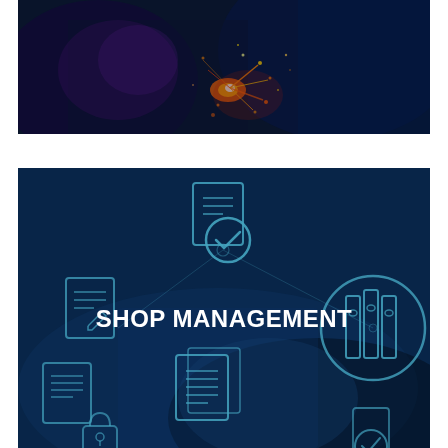[Figure (photo): Dark image of a welder working with bright sparks and colorful light flares — red, orange, purple — against a dark background]
[Figure (photo): Blue-tinted photo of a person's hands on a surface overlaid with document management icons (file with checkmark, binders, documents, lock) and the text 'SHOP MANAGEMENT' in bold white]
SHOP MANAGEMENT